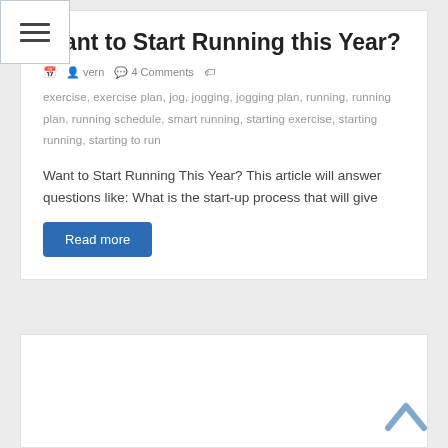[Figure (other): Hamburger menu button icon with three horizontal lines in a bordered box]
Want to Start Running this Year?
vern   4 Comments   exercise, exercise plan, jog, jogging, jogging plan, running, running plan, running schedule, smart running, starting exercise, starting running, starting to run
Want to Start Running This Year? This article will answer questions like: What is the start-up process that will give
Read more